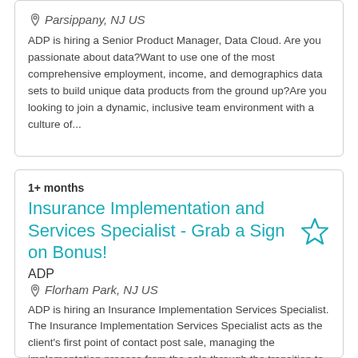Parsippany, NJ US
ADP is hiring a Senior Product Manager, Data Cloud. Are you passionate about data?Want to use one of the most comprehensive employment, income, and demographics data sets to build unique data products from the ground up?Are you looking to join a dynamic, inclusive team environment with a culture of...
1+ months
Insurance Implementation and Services Specialist - Grab a Sign on Bonus!
ADP
Florham Park, NJ US
ADP is hiring an Insurance Implementation Services Specialist. The Insurance Implementation Services Specialist acts as the client's first point of contact post sale, managing the implementation process from the sale through the transition to Client Service. Ensures the establishment of a positive r...